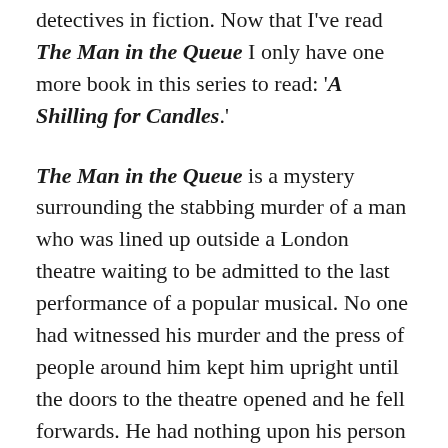detectives in fiction. Now that I've read The Man in the Queue I only have one more book in this series to read: 'A Shilling for Candles.'
The Man in the Queue is a mystery surrounding the stabbing murder of a man who was lined up outside a London theatre waiting to be admitted to the last performance of a popular musical. No one had witnessed his murder and the press of people around him kept him upright until the doors to the theatre opened and he fell forwards. He had nothing upon his person to reveal his identity and a loaded revolver was found in his pocket.
Inspector Grant is brought in to cover the investigation and by a painstaking process and some good luck, he manages to identify the victim